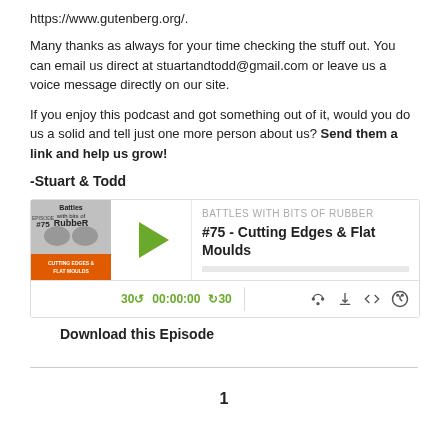https://www.gutenberg.org/.
Many thanks as always for your time checking the stuff out. You can email us direct at stuartandtodd@gmail.com or leave us a voice message directly on our site.
If you enjoy this podcast and got something out of it, would you do us a solid and tell just one more person about us? Send them a link and help us grow!
-Stuart & Todd
[Figure (screenshot): Embedded podcast player widget for 'Battles with Bits of Rubber' episode #75 - Cutting Edges & Flat Moulds. Shows album art, play button, episode title, progress bar, and playback controls showing 30-skip, 00:00:00 time, +30 skip, and icons for RSS, download, embed, and headphones.]
Download this Episode
1